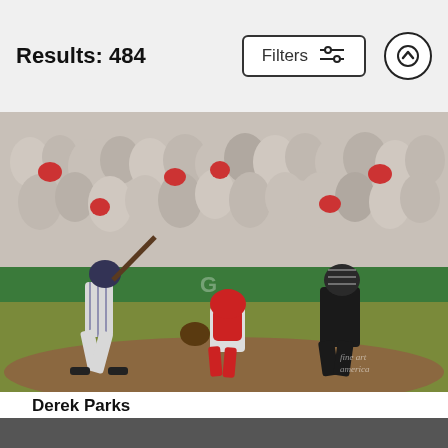Results: 484   Filters   ↑
[Figure (photo): Baseball game action photo: A New York Yankees batter in gray pinstripes mid-swing, a Boston Red Sox catcher in red crouching behind home plate, and a black-uniformed umpire watching. A large crowd of spectators fills the background at what appears to be Fenway Park. Fine Art America watermark visible in lower right.]
Derek Parks
Al Bello
$9.62